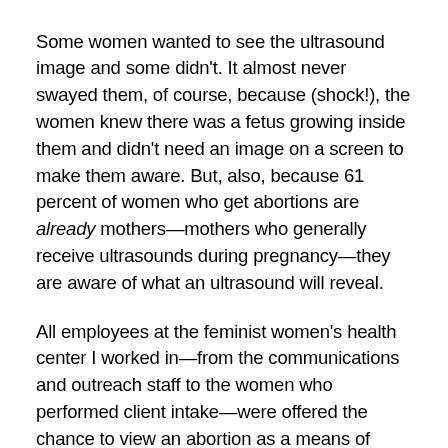Some women wanted to see the ultrasound image and some didn't. It almost never swayed them, of course, because (shock!), the women knew there was a fetus growing inside them and didn't need an image on a screen to make them aware. But, also, because 61 percent of women who get abortions are already mothers—mothers who generally receive ultrasounds during pregnancy—they are aware of what an ultrasound will reveal.
All employees at the feminist women's health center I worked in—from the communications and outreach staff to the women who performed client intake—were offered the chance to view an abortion as a means of understanding how abortion is